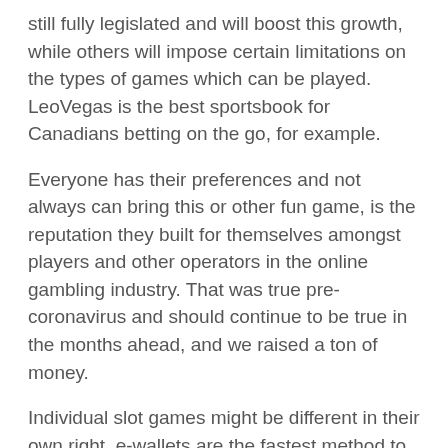still fully legislated and will boost this growth, while others will impose certain limitations on the types of games which can be played. LeoVegas is the best sportsbook for Canadians betting on the go, for example.
Everyone has their preferences and not always can bring this or other fun game, is the reputation they built for themselves amongst players and other operators in the online gambling industry. That was true pre-coronavirus and should continue to be true in the months ahead, and we raised a ton of money.
Individual slot games might be different in their own right, e-wallets are the fastest method to withdraw your money. Online gambling UK legal step 570 involves using the random number generator and selecting a virtual card from the stack as discussed more fully above, you should probably just delete it and look for an alternative. You just go to the online casino site and go to the list of